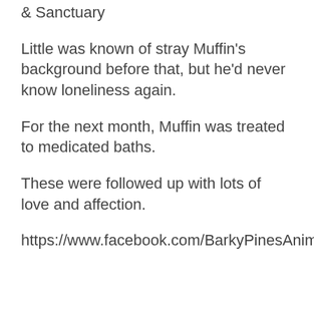& Sanctuary
Little was known of stray Muffin's background before that, but he'd never know loneliness again.
For the next month, Muffin was treated to medicated baths.
These were followed up with lots of love and affection.
https://www.facebook.com/BarkyPinesAnimalRescueSanctuary/videos/354616608434453/